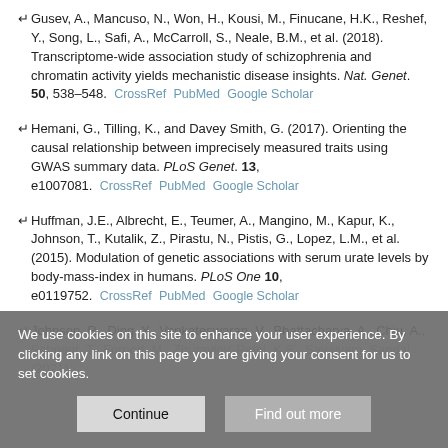Gusev, A., Mancuso, N., Won, H., Kousi, M., Finucane, H.K., Reshef, Y., Song, L., Safi, A., McCarroll, S., Neale, B.M., et al. (2018). Transcriptome-wide association study of schizophrenia and chromatin activity yields mechanistic disease insights. Nat. Genet. 50, 538–548. CrossRef PubMed Google Scholar
Hemani, G., Tilling, K., and Davey Smith, G. (2017). Orienting the causal relationship between imprecisely measured traits using GWAS summary data. PLoS Genet. 13, e1007081. CrossRef PubMed Google Scholar
Huffman, J.E., Albrecht, E., Teumer, A., Mangino, M., Kapur, K., Johnson, T., Kutalik, Z., Pirastu, N., Pistis, G., Lopez, L.M., et al. (2015). Modulation of genetic associations with serum urate levels by body-mass-index in humans. PLoS One 10, e0119752. CrossRef PubMed Google Scholar
Johnson, R., Ding, Y., Venkateswaran, V., Bhattacharya, A., Chiu, A., ...
We use cookies on this site to enhance your user experience. By clicking any link on this page you are giving your consent for us to set cookies.